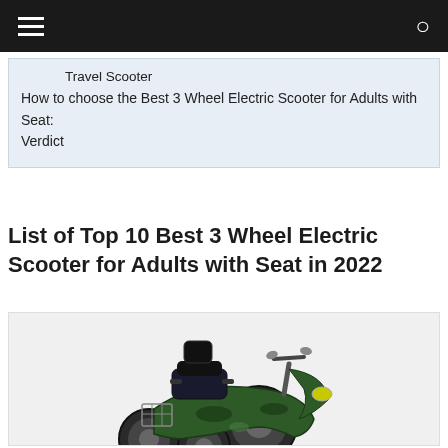Travel Scooter
How to choose the Best 3 Wheel Electric Scooter for Adults with Seat:
Verdict
List of Top 10 Best 3 Wheel Electric Scooter for Adults with Seat in 2022
[Figure (photo): A green camouflage 3-wheel electric mobility scooter with a black seat, headrest, front basket, mirrors, and three wheels on a light grey background.]